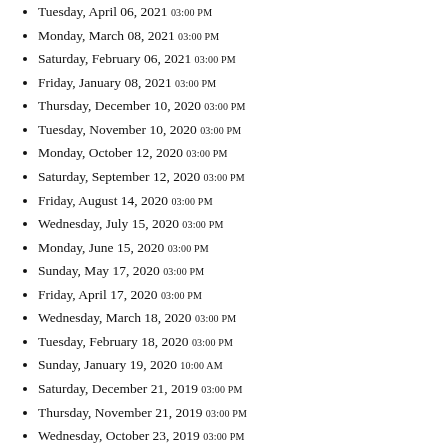Tuesday, April 06, 2021 03:00 PM
Monday, March 08, 2021 03:00 PM
Saturday, February 06, 2021 03:00 PM
Friday, January 08, 2021 03:00 PM
Thursday, December 10, 2020 03:00 PM
Tuesday, November 10, 2020 03:00 PM
Monday, October 12, 2020 03:00 PM
Saturday, September 12, 2020 03:00 PM
Friday, August 14, 2020 03:00 PM
Wednesday, July 15, 2020 03:00 PM
Monday, June 15, 2020 03:00 PM
Sunday, May 17, 2020 03:00 PM
Friday, April 17, 2020 03:00 PM
Wednesday, March 18, 2020 03:00 PM
Tuesday, February 18, 2020 03:00 PM
Sunday, January 19, 2020 10:00 AM
Saturday, December 21, 2019 03:00 PM
Thursday, November 21, 2019 03:00 PM
Wednesday, October 23, 2019 03:00 PM
Tuesday, September 24, 2019 03:00 PM
Sunday, August 25, 2019 03:00 PM
Saturday, July 27, 2019 03:00 PM
Thursday, June 27, 2019 03:00 PM
Wednesday, May 29, 2019 03:00 PM
Monday, April 29, 2019 03:00 PM
Saturday, March 30, 2019 03:00 PM
Friday, March 01, 2019 03:00 PM
Wednesday, January 30, 2019 03:00 PM